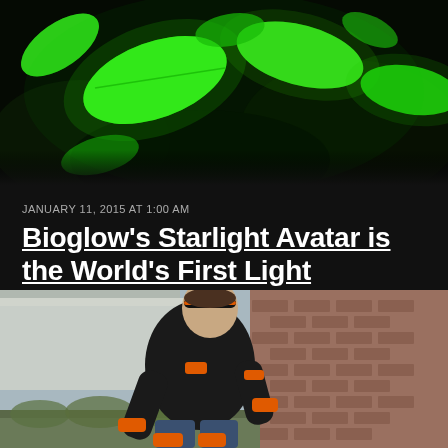[Figure (photo): Close-up photo of bright glowing green leaves against a dark/black background — bioluminescent plant]
JANUARY 11, 2015 AT 1:00 AM
Bioglow's Starlight Avatar is the World's First Light Producing Plant
— BY YARROW MAURER
[Figure (photo): Outdoor photo of a man in a black shirt wearing orange and black motion capture or sports tracking sensors/bands on his wrists, knees, and torso, leaning forward in an athletic pose near a brick wall]